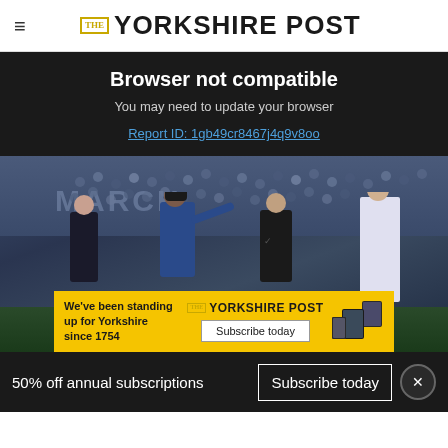THE YORKSHIRE POST
Browser not compatible
You may need to update your browser
Report ID: 1gb49cr8467j4q9v8oo
[Figure (photo): Football match scene with manager gesturing on the touchline alongside coaching staff, stadium crowd in background]
[Figure (advertisement): Yorkshire Post subscription ad banner: 'We've been standing up for Yorkshire since 1754' with Subscribe today button]
50% off annual subscriptions
Subscribe today